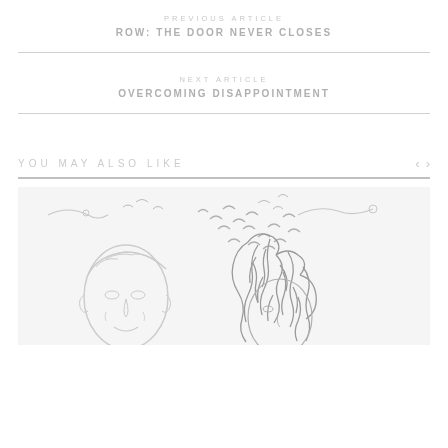PREVIOUS ARTICLE
ROW: THE DOOR NEVER CLOSES
NEXT ARTICLE
OVERCOMING DISAPPOINTMENT
YOU MAY ALSO LIKE
[Figure (illustration): Line illustration of two people (a man on the left with short hair, a woman on the right with voluminous curly hair) with decorative bird/swirl motifs floating above]